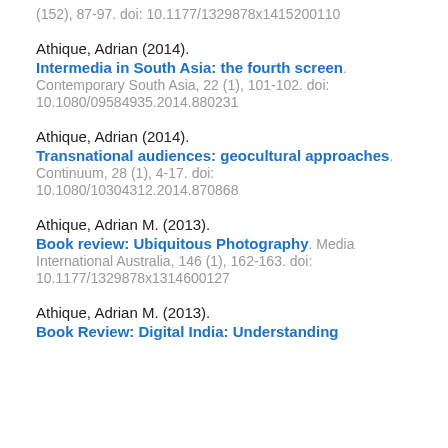(152), 87-97. doi: 10.1177/1329878x1415200110
Athique, Adrian (2014). Intermedia in South Asia: the fourth screen. Contemporary South Asia, 22 (1), 101-102. doi: 10.1080/09584935.2014.880231
Athique, Adrian (2014). Transnational audiences: geocultural approaches. Continuum, 28 (1), 4-17. doi: 10.1080/10304312.2014.870868
Athique, Adrian M. (2013). Book review: Ubiquitous Photography. Media International Australia, 146 (1), 162-163. doi: 10.1177/1329878x1314600127
Athique, Adrian M. (2013). Book Review: Digital India: Understanding